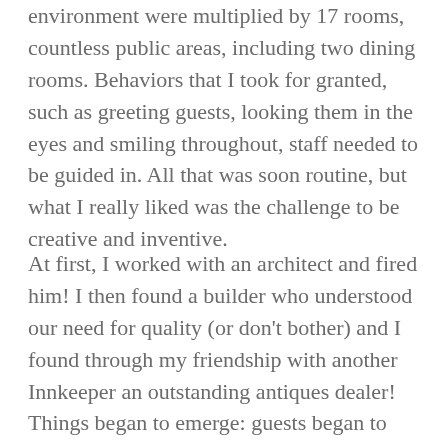environment were multiplied by 17 rooms, countless public areas, including two dining rooms. Behaviors that I took for granted, such as greeting guests, looking them in the eyes and smiling throughout, staff needed to be guided in. All that was soon routine, but what I really liked was the challenge to be creative and inventive.
At first, I worked with an architect and fired him! I then found a builder who understood our need for quality (or don't bother) and I found through my friendship with another Innkeeper an outstanding antiques dealer! Things began to emerge: guests began to leave appreciative notes in the guestbook, complimented us on the warmth of the ambiance, reflected on the artwork on display and the hand-